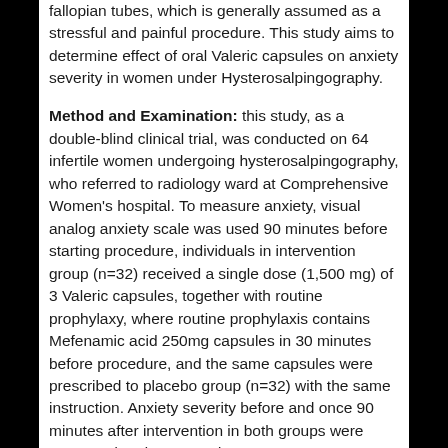fallopian tubes, which is generally assumed as a stressful and painful procedure. This study aims to determine effect of oral Valeric capsules on anxiety severity in women under Hysterosalpingography.
Method and Examination: this study, as a double-blind clinical trial, was conducted on 64 infertile women undergoing hysterosalpingography, who referred to radiology ward at Comprehensive Women's hospital. To measure anxiety, visual analog anxiety scale was used 90 minutes before starting procedure, individuals in intervention group (n=32) received a single dose (1,500 mg) of 3 Valeric capsules, together with routine prophylaxy, where routine prophylaxis contains Mefenamic acid 250mg capsules in 30 minutes before procedure, and the same capsules were prescribed to placebo group (n=32) with the same instruction. Anxiety severity before and once 90 minutes after intervention in both groups were measured and compared.
Results: There was no difference on anxiety severity before intervention in both groups (p=0.26), and the groups were homogeneous; after intervention, a significant difference on anxiety severity was reported in